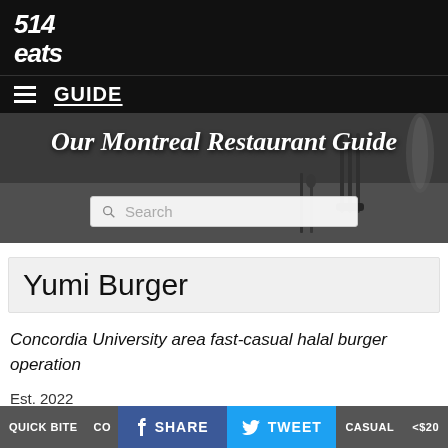[Figure (logo): 514 eats logo in white italic bold font on black background]
GUIDE
[Figure (photo): Black and white photo of fork, knife and glassware on a table — restaurant setting hero image with text 'Our Montreal Restaurant Guide' and a Search bar]
Yumi Burger
Concordia University area fast-casual halal burger operation
Est. 2022
QUICK BITE
SHARE
TWEET
CASUAL
<$20